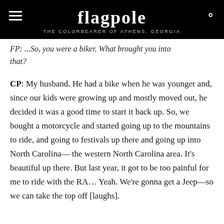flagpole — THE COLORBEARER OF ATHENS, GEORGIA
FP: ...So, you were a biker. What brought you into that?
CP: My husband. He had a bike when he was younger and, since our kids were growing up and mostly moved out, he decided it was a good time to start it back up. So, we bought a motorcycle and started going up to the mountains to ride, and going to festivals up there and going up into North Carolina— the western North Carolina area. It's beautiful up there. But last year, it got to be too painful for me to ride with the RA... Yeah. We're gonna get a Jeep—so we can take the top off [laughs].